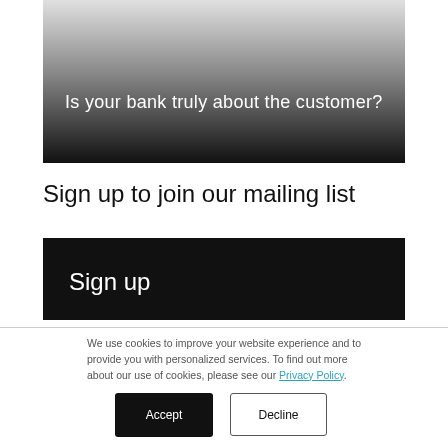[Figure (photo): Gradient image fading from white at top to black at bottom with the text 'Is your bank truly about the customer?' in white near the bottom left]
Sign up to join our mailing list
[Figure (screenshot): Black button/banner with white text reading 'Sign up']
We use cookies to improve your website experience and to provide you with personalized services. To find out more about our use of cookies, please see our Privacy Policy.
Accept
Decline